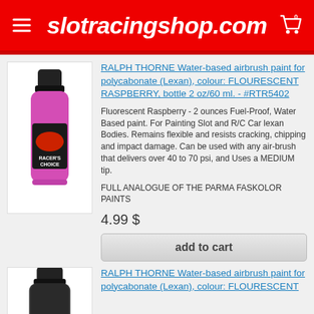slotracingshop.com
[Figure (photo): Pink/magenta bottle of Ralph Thorne Racer's Choice airbrush paint with black cap]
RALPH THORNE Water-based airbrush paint for polycabonate (Lexan), colour: FLOURESCENT RASPBERRY, bottle 2 oz/60 ml. - #RTR5402
Fluorescent Raspberry - 2 ounces Fuel-Proof, Water Based paint. For Painting Slot and R/C Car lexan Bodies. Remains flexible and resists cracking, chipping and impact damage. Can be used with any air-brush that delivers over 40 to 70 psi, and Uses a MEDIUM tip.
FULL ANALOGUE OF THE PARMA FASKOLOR PAINTS
4.99 $
add to cart
[Figure (photo): Dark bottle of Ralph Thorne airbrush paint with black cap]
RALPH THORNE Water-based airbrush paint for polycabonate (Lexan), colour: FLOURESCENT